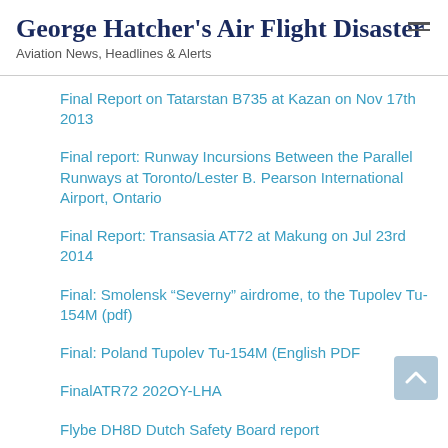George Hatcher's Air Flight Disaster
Aviation News, Headlines & Alerts
Final Report on Tatarstan B735 at Kazan on Nov 17th 2013
Final report: Runway Incursions Between the Parallel Runways at Toronto/Lester B. Pearson International Airport, Ontario
Final Report: Transasia AT72 at Makung on Jul 23rd 2014
Final: Smolensk “Severny” airdrome, to the Tupolev Tu-154M (pdf)
Final: Poland Tupolev Tu-154M (English PDF
FinalATR72 202OY-LHA
Flybe DH8D Dutch Safety Board report
FlyDubai Interim Report: Flight 981
Garuda Indonesia Flight 865